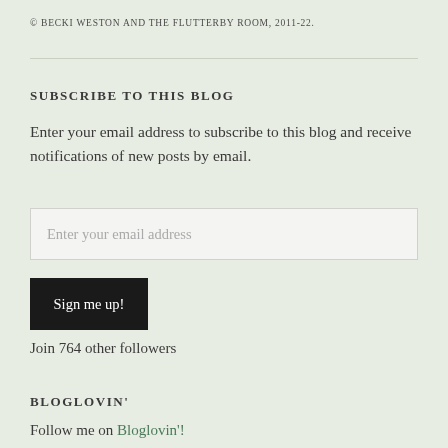© BECKI WESTON AND THE FLUTTERBY ROOM, 2011-22.
SUBSCRIBE TO THIS BLOG
Enter your email address to subscribe to this blog and receive notifications of new posts by email.
Enter your email address
Sign me up!
Join 764 other followers
BLOGLOVIN'
Follow me on Bloglovin'!